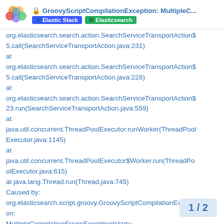GroovyScriptCompilationException: MultipleC... | Elastic Stack | Elasticsearch
org.elasticsearch.search.action.SearchServiceTransportAction$5.call(SearchServiceTransportAction.java:231)
at org.elasticsearch.search.action.SearchServiceTransportAction$5.call(SearchServiceTransportAction.java:228)
at org.elasticsearch.search.action.SearchServiceTransportAction$23.run(SearchServiceTransportAction.java:559)
at java.util.concurrent.ThreadPoolExecutor.runWorker(ThreadPoolExecutor.java:1145)
at java.util.concurrent.ThreadPoolExecutor$Worker.run(ThreadPoolExecutor.java:615)
at java.lang.Thread.run(Thread.java:745)
Caused by:
org.elasticsearch.script.groovy.GroovyScriptCompilationException:
MultipleCompilationErrorsException[startu
1 / 2